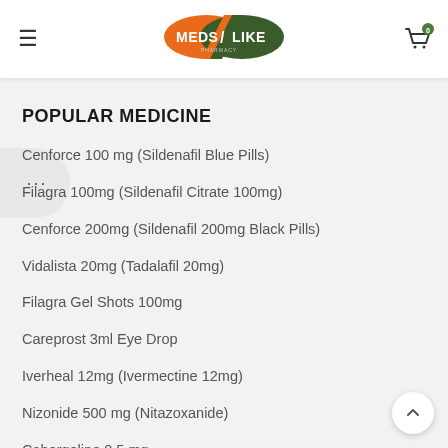[Figure (logo): MedsLike Pharmacy logo — orange and dark green pill-shaped logo with white text]
POPULAR MEDICINE
Cenforce 100 mg (Sildenafil Blue Pills)
Filagra 100mg (Sildenafil Citrate 100mg)
Cenforce 200mg (Sildenafil 200mg Black Pills)
Vidalista 20mg (Tadalafil 20mg)
Filagra Gel Shots 100mg
Careprost 3ml Eye Drop
Iverheal 12mg (Ivermectine 12mg)
Nizonide 500 mg (Nitazoxanide)
Cabergoline 0.5 mg